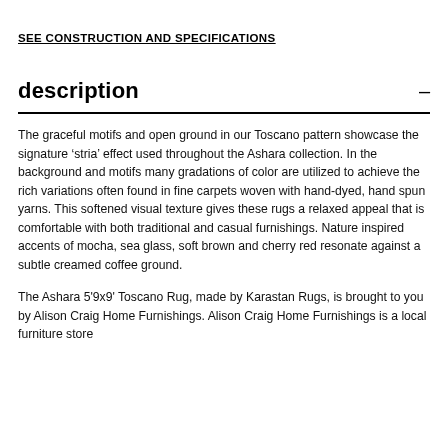SEE CONSTRUCTION AND SPECIFICATIONS
description
The graceful motifs and open ground in our Toscano pattern showcase the signature ‘stria’ effect used throughout the Ashara collection. In the background and motifs many gradations of color are utilized to achieve the rich variations often found in fine carpets woven with hand-dyed, hand spun yarns. This softened visual texture gives these rugs a relaxed appeal that is comfortable with both traditional and casual furnishings. Nature inspired accents of mocha, sea glass, soft brown and cherry red resonate against a subtle creamed coffee ground.
The Ashara 5'9x9' Toscano Rug, made by Karastan Rugs, is brought to you by Alison Craig Home Furnishings. Alison Craig Home Furnishings is a local furniture store